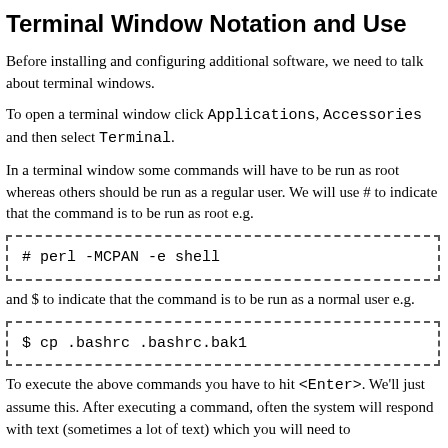Terminal Window Notation and Use
Before installing and configuring additional software, we need to talk about terminal windows.
To open a terminal window click Applications, Accessories and then select Terminal.
In a terminal window some commands will have to be run as root whereas others should be run as a regular user. We will use # to indicate that the command is to be run as root e.g.
# perl -MCPAN -e shell
and $ to indicate that the command is to be run as a normal user e.g.
$ cp .bashrc .bashrc.bak1
To execute the above commands you have to hit <Enter>. We'll just assume this. After executing a command, often the system will respond with text (sometimes a lot of text) which you will need to